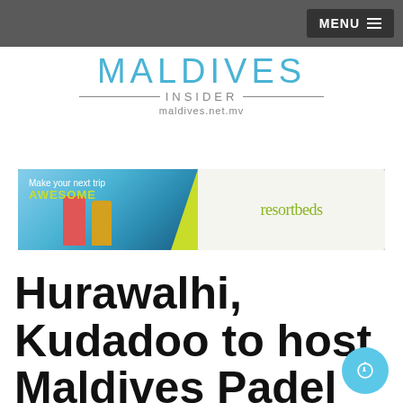MENU
[Figure (logo): Maldives Insider logo with text 'MALDIVES INSIDER maldives.net.mv']
[Figure (photo): Resortbeds advertisement banner: 'Make your next trip AWESOME' with resort imagery on the left and 'resortbeds' branding on the right]
Hurawalhi, Kudadoo to host Maldives Padel Tennis Open